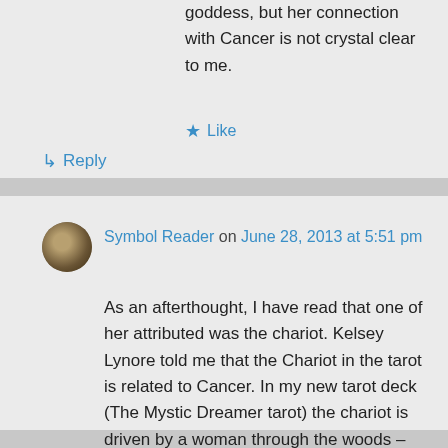goddess, but her connection with Cancer is not crystal clear to me.
★ Like
↳ Reply
Symbol Reader on June 28, 2013 at 5:51 pm
As an afterthought, I have read that one of her attributed was the chariot. Kelsey Lynore told me that the Chariot in the tarot is related to Cancer. In my new tarot deck (The Mystic Dreamer tarot) the chariot is driven by a woman through the woods – Artemis!